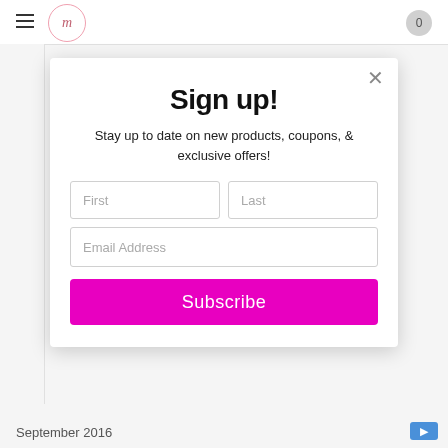Navigation bar with hamburger menu, logo, and cart (0)
Sign up!
Stay up to date on new products, coupons, & exclusive offers!
First
Last
Email Address
Subscribe
September 2016